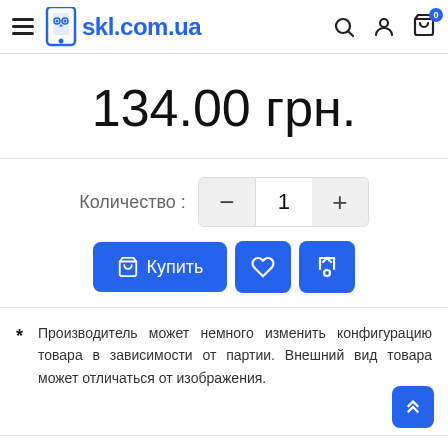skl.com.ua
134.00 грн.
Количество : - 1 +
Купить
* Производитель может немного изменить конфигурацию товара в зависимости от партии. Внешний вид товара может отличаться от изображения.